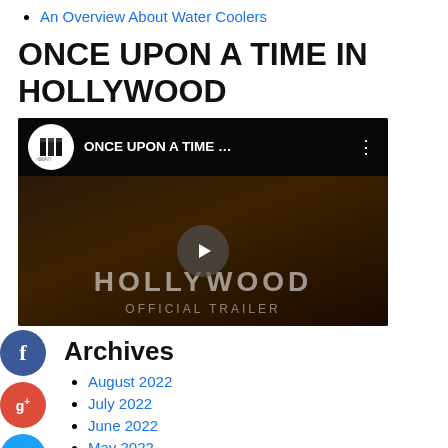An Overview About Water Coolers
ONCE UPON A TIME IN HOLLYWOOD
[Figure (screenshot): YouTube video thumbnail for 'Once Upon A Time In Hollywood' official trailer by Sony Pictures, showing a dark scene with HOLLYWOOD text overlay and a play button.]
Archives
August 2022
July 2022
June 2022
May 2022
April 2022